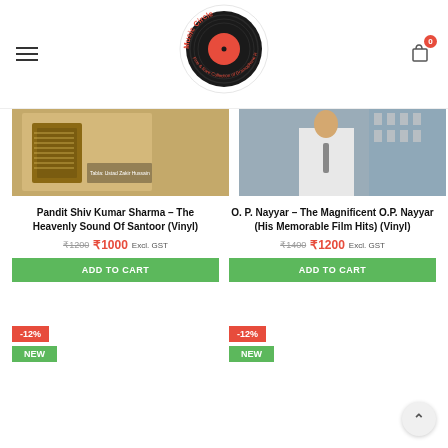[Figure (logo): Music Circle logo — vinyl record with red center, circular text 'Music Circle Fine & Rare Collection of Gramophone Records']
[Figure (photo): Album cover for Pandit Shiv Kumar Sharma – The Heavenly Sound Of Santoor (Vinyl)]
Pandit Shiv Kumar Sharma – The Heavenly Sound Of Santoor (Vinyl)
₹1200  ₹1000 Excl. GST
ADD TO CART
-12%
NEW
[Figure (photo): Album cover for O. P. Nayyar – The Magnificent O.P. Nayyar (His Memorable Film Hits) (Vinyl)]
O. P. Nayyar – The Magnificent O.P. Nayyar (His Memorable Film Hits) (Vinyl)
₹1400  ₹1200 Excl. GST
ADD TO CART
-12%
NEW